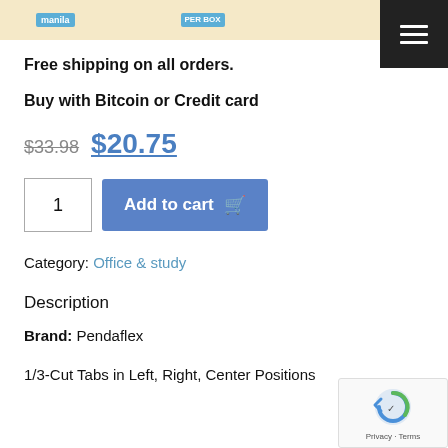[Figure (screenshot): Top strip showing manila folder product images with blue badges: 'manila' and 'PER BOX']
Free shipping on all orders.
Buy with Bitcoin or Credit card
$33.98 $20.75
[Figure (screenshot): Quantity input box showing '1' and blue 'Add to cart' button with cart icon]
Category: Office & study
Description
Brand: Pendaflex
1/3-Cut Tabs in Left, Right, Center Positions
[Figure (screenshot): Google reCAPTCHA badge with logo and 'Privacy - Terms' text]